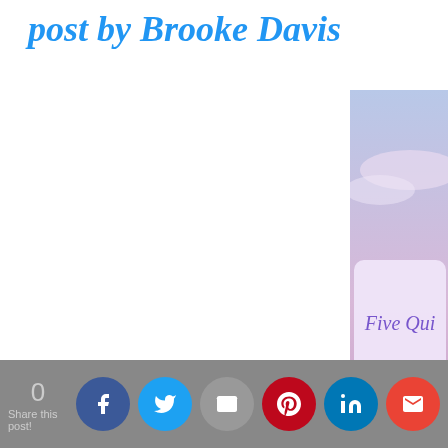post by Brooke Davis
[Figure (illustration): Blog post image card showing 'Five Quick Ways to Manage Overwhelm' by guest blogger Brooke Davis, LIFETALESBOOKS.BLOGS... with a purple/lavender sunset beach background and cursive purple text overlaid on a white rounded rectangle.]
0  Share this post!  [Facebook] [Twitter] [Email] [Pinterest] [LinkedIn] [Gmail]